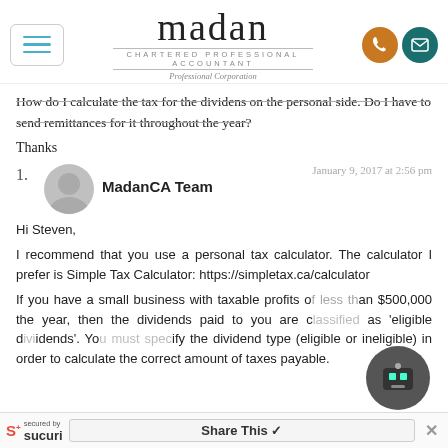madan — CHARTERED PROFESSIONAL ACCOUNTANT — Professional Corporation
How do I calculate the tax for the dividens on the personal side. Do I have to send remittances for it throughout the year?
Thanks
1. MadanCA Team — January 9, 2017 at 2:56 pm
Hi Steven,
I recommend that you use a personal tax calculator. The calculator I prefer is Simple Tax Calculator: https://simpletax.ca/calculator
If you have a small business with taxable profits of less than $500,000 the year, then the dividends paid to you are classified as 'eligible dividends'. You must specify the dividend type (eligible or ineligible) in order to calculate the correct amount of taxes payable.